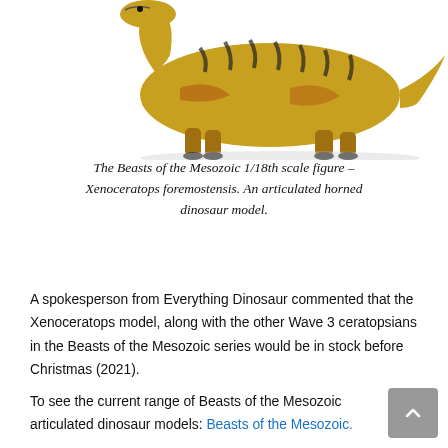[Figure (photo): A Beasts of the Mesozoic 1/18th scale articulated dinosaur figure of Xenoceratops foremostensis, yellow-green with black tiger stripes and orange-brown accents, posed on a white background.]
The Beasts of the Mesozoic 1/18th scale figure – Xenoceratops foremostensis. An articulated horned dinosaur model.
A spokesperson from Everything Dinosaur commented that the Xenoceratops model, along with the other Wave 3 ceratopsians in the Beasts of the Mesozoic series would be in stock before Christmas (2021).
To see the current range of Beasts of the Mesozoic articulated dinosaur models: Beasts of the Mesozoic.